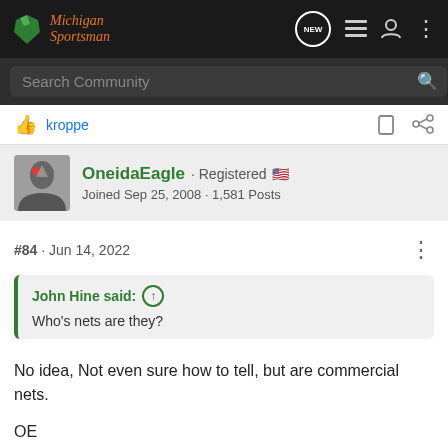Michigan Sportsman
Search Community
kroppe
OneidaEagle · Registered
Joined Sep 25, 2008 · 1,581 Posts
#84 · Jun 14, 2022
John Hine said:
Who's nets are they?
No idea, Not even sure how to tell, but are commercial nets.
OE